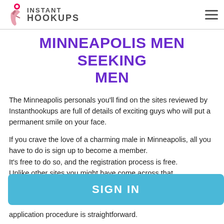INSTANT HOOKUPS
MINNEAPOLIS MEN SEEKING MEN
The Minneapolis personals you'll find on the sites reviewed by Instanthookups are full of details of exciting guys who will put a permanent smile on your face.
If you crave the love of a charming male in Minneapolis, all you have to do is sign up to become a member.
It's free to do so, and the registration process is free.
Unlike other sites you might have come across that
application procedure is straightforward.